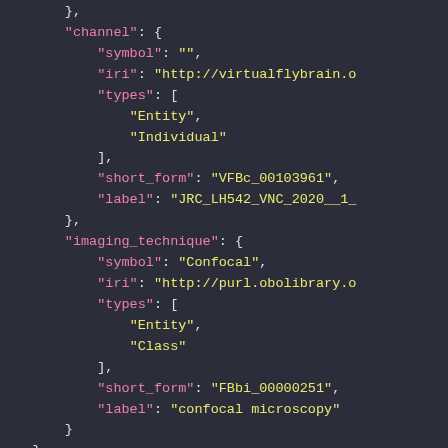JSON code snippet showing channel and imaging_technique objects with symbol, iri, types, short_form, and label fields